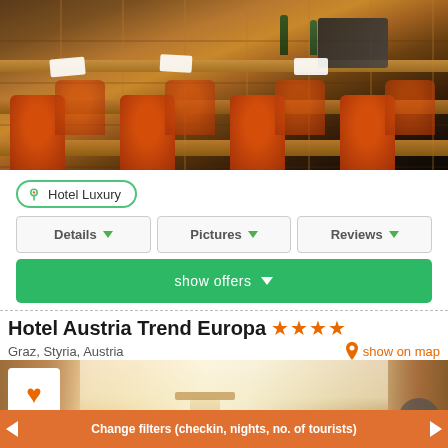[Figure (photo): Hotel conference room with orange chairs and brown wooden tables, laptop and documents on tables]
Hotel Luxury
Details | Pictures | Reviews
show offers
Hotel Austria Trend Europa ★★★★
Graz, Styria, Austria
show on map
[Figure (photo): Hotel room interior with warm lighting, curtains, and a lamp]
Change filters (checkin, nights, no. of tourists)